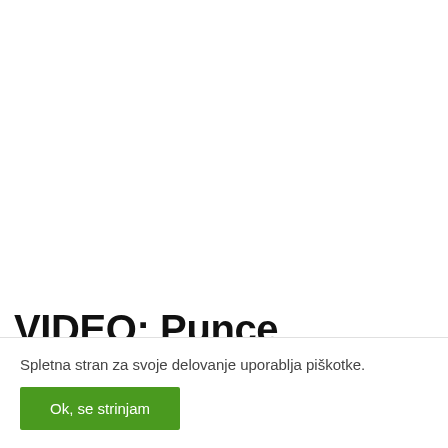ŠPORT
VIDEO: Punce spraševal, katera
Spletna stran za svoje delovanje uporablja piškotke.
Ok, se strinjam